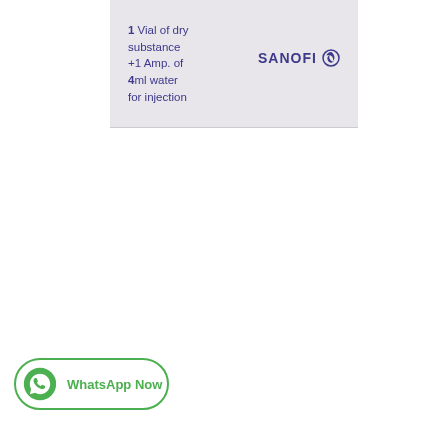[Figure (photo): Photograph of a pharmaceutical product box (Sanofi) showing side panel text: '1 Vial of dry substance +1 Amp. of 4ml water for injection' with the SANOFI logo on a light grey background.]
WhatsApp Now